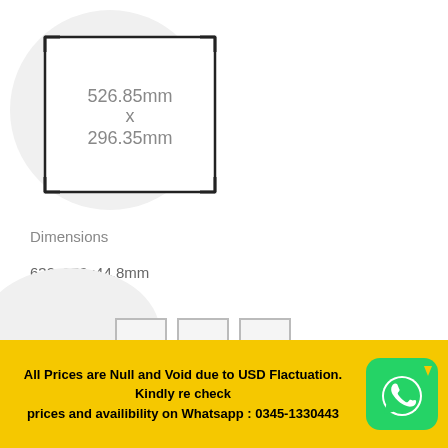[Figure (schematic): A rectangle diagram showing dimensions 526.85mm x 296.35mm with corner bracket markers, displayed over a light gray circle background]
Dimensions
632x370x44.8mm
[Figure (illustration): Three small square thumbnail images in a row]
All Prices are Null and Void due to USD Flactuation. Kindly re check prices and availibility on Whatsapp : 0345-1330443